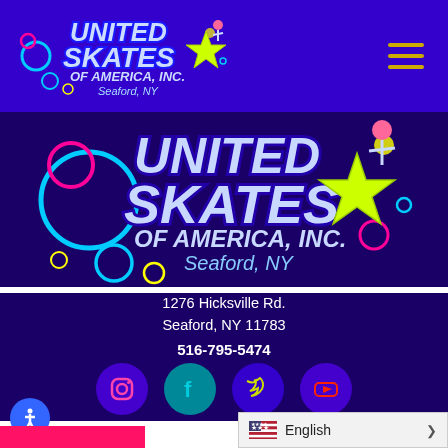[Figure (logo): United Skates of America, Inc. logo - small version in header, colorful text with star and skater figure on purple background, Seaford, NY]
[Figure (logo): United Skates of America, Inc. logo - large version, colorful text with star and skater figure on dark blue/purple background, Seaford, NY]
1276 Hicksville Rd.
Seaford, NY 11783
516-795-5474
[Figure (infographic): Row of four social media icon circles: Instagram (purple), Facebook (teal), Twitter (purple), YouTube (purple)]
[Figure (infographic): Language selector bar showing US flag and English text with dropdown chevron]
[Figure (infographic): Blue accessibility icon button (person with arms out)]